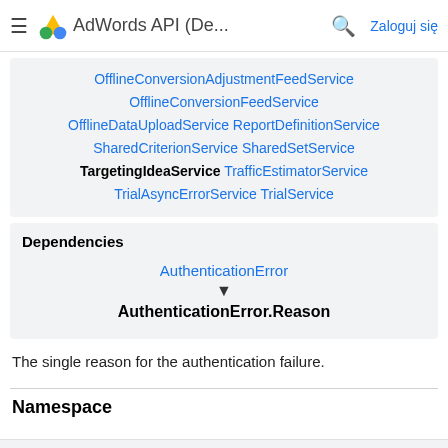AdWords API (De... — Zaloguj się
OfflineConversionAdjustmentFeedService OfflineConversionFeedService OfflineDataUploadService ReportDefinitionService SharedCriterionService SharedSetService TargetingIdeaService TrafficEstimatorService TrialAsyncErrorService TrialService
Dependencies
[Figure (flowchart): Dependency diagram showing AuthenticationError pointing down to AuthenticationError.Reason]
The single reason for the authentication failure.
Namespace